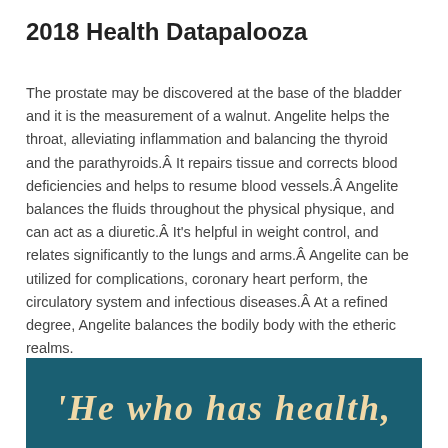2018 Health Datapalooza
The prostate may be discovered at the base of the bladder and it is the measurement of a walnut. Angelite helps the throat, alleviating inflammation and balancing the thyroid and the parathyroids.Â It repairs tissue and corrects blood deficiencies and helps to resume blood vessels.Â Angelite balances the fluids throughout the physical physique, and can act as a diuretic.Â It’s helpful in weight control, and relates significantly to the lungs and arms.Â Angelite can be utilized for complications, coronary heart perform, the circulatory system and infectious diseases.Â At a refined degree, Angelite balances the bodily body with the etheric realms.
[Figure (photo): Dark teal/blue background image with decorative script text reading 'He who has health,']